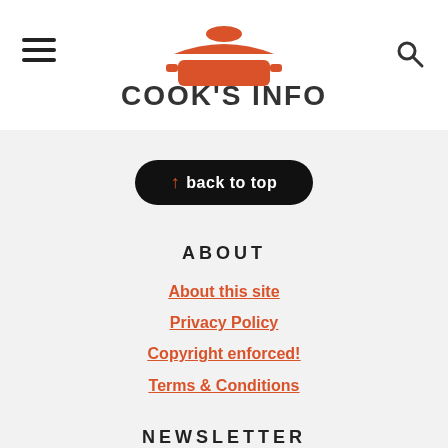[Figure (logo): Cook's Info logo with red pot/lid graphic and bold dark text 'COOK'S INFO'. Hamburger menu icon on left, search icon on right.]
↑ back to top
ABOUT
About this site
Privacy Policy
Copyright enforced!
Terms & Conditions
NEWSLETTER
Sign Up! for emails and updates